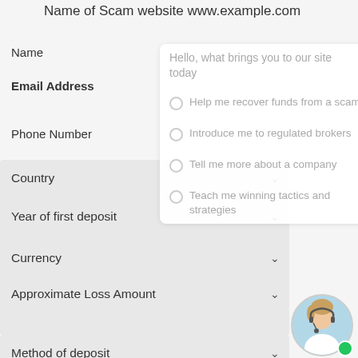Name of Scam website www.example.com
Name
Email Address
Phone Number
Country
Year of first deposit
Currency
Approximate Loss Amount
Method of deposit
Describe What Happened
Hello, what brings you to our site today
Help me recover funds from a scam
Introduce me to regulated brokers
Tell me more about a company
Teach me winning tactics and strategies